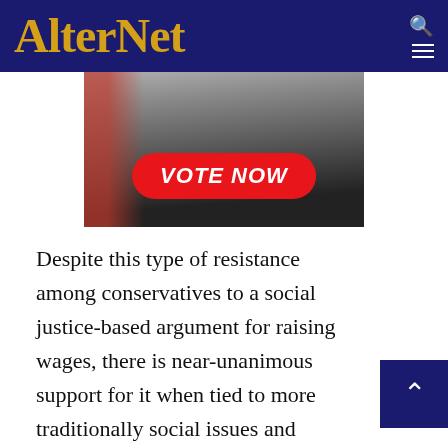AlterNet
[Figure (photo): Photo of a man in dark suit with an American flag in background, with a red 'VOTE NOW' button overlay]
Despite this type of resistance among conservatives to a social justice-based argument for raising wages, there is near-unanimous support for it when tied to more traditionally social issues and when the wage target is explained in terms that make sense to them. Highlighting to these voters that it is more and more difficult for hardworking Americans to get by; that the breakdown of the